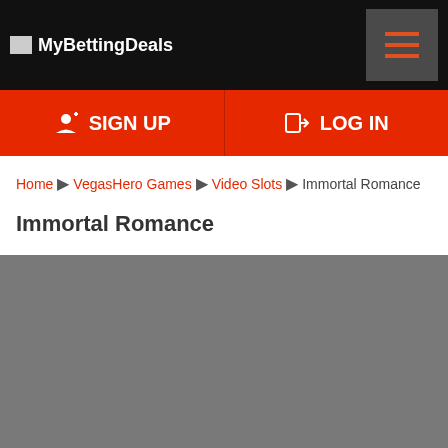MyBettingDeals
SIGN UP | LOG IN
Home > VegasHero Games > Video Slots > Immortal Romance
Immortal Romance
[Figure (other): Gray content placeholder area]